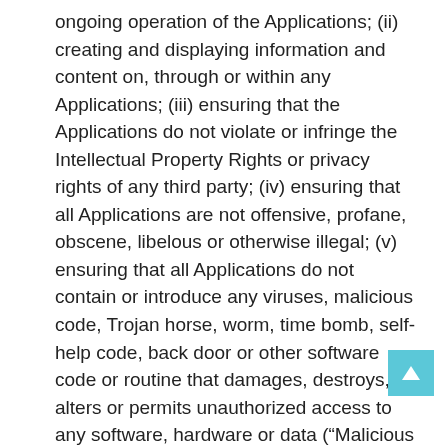ongoing operation of the Applications; (ii) creating and displaying information and content on, through or within any Applications; (iii) ensuring that the Applications do not violate or infringe the Intellectual Property Rights or privacy rights of any third party; (iv) ensuring that all Applications are not offensive, profane, obscene, libelous or otherwise illegal; (v) ensuring that all Applications do not contain or introduce any viruses, malicious code, Trojan horse, worm, time bomb, self-help code, back door or other software code or routine that damages, destroys, alters or permits unauthorized access to any software, hardware or data (“Malicious Software”) into the Zoey Platform; (vi) ensuring that all Applications do not contain open source or other free software, the use of which may require disclosure of the